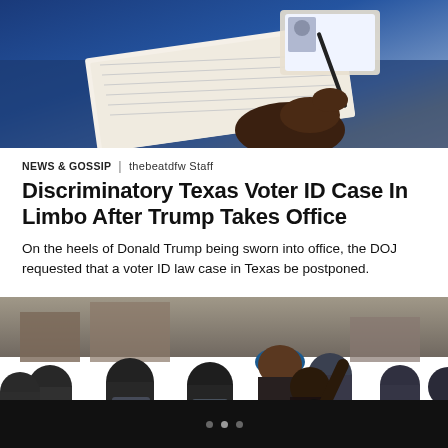[Figure (photo): Person's hands writing in a booklet/form on a desk with an ID card visible on a blue surface]
NEWS & GOSSIP  |  thebeatdfw Staff
Discriminatory Texas Voter ID Case In Limbo After Trump Takes Office
On the heels of Donald Trump being sworn into office, the DOJ requested that a voter ID law case in Texas be postponed.
[Figure (photo): Protesters confronting police in riot gear with shields, including women in the foreground with one raising her arm]